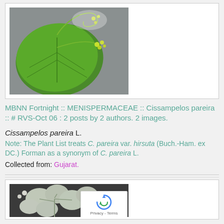[Figure (photo): Photo of Cissampelos pareira plant showing large green heart-shaped leaf with yellow-green flowers and curling tendrils against grey background]
MBNN Fortnight :: MENISPERMACEAE :: Cissampelos pareira :: # RVS-Oct 06 : 2 posts by 2 authors. 2 images.
Cissampelos pareira L.
Note: The Plant List treats C. pareira var. hirsuta (Buch.-Ham. ex DC.) Forman as a synonym of C. pareira L.
Collected from: Gujarat.
[Figure (photo): Photo of pale grey-green leafy plant with small round leaves and small flowers against dark background]